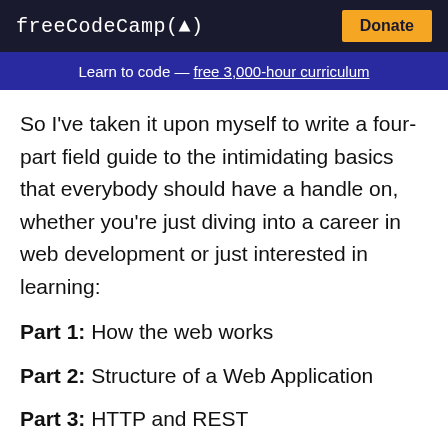freeCodeCamp(🔥)  Donate
Learn to code — free 3,000-hour curriculum
So I've taken it upon myself to write a four-part field guide to the intimidating basics that everybody should have a handle on, whether you're just diving into a career in web development or just interested in learning:
Part 1: How the web works
Part 2: Structure of a Web Application
Part 3: HTTP and REST